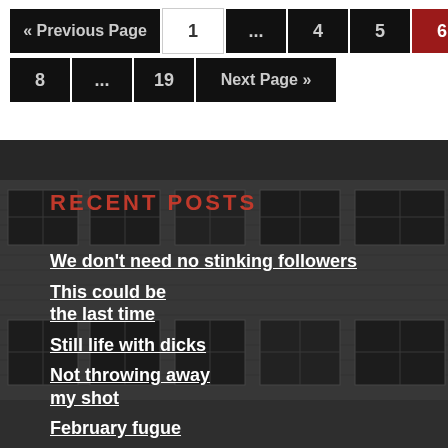« Previous Page | 1 | ... | 4 | 5 | 6 | 7
8 | ... | 19 | Next Page »
[Figure (photo): Grayscale photograph of an abandoned industrial brick building with broken and barred windows]
RECENT POSTS
We don't need no stinking followers
This could be the last time
Still life with dicks
Not throwing away my shot
February fugue